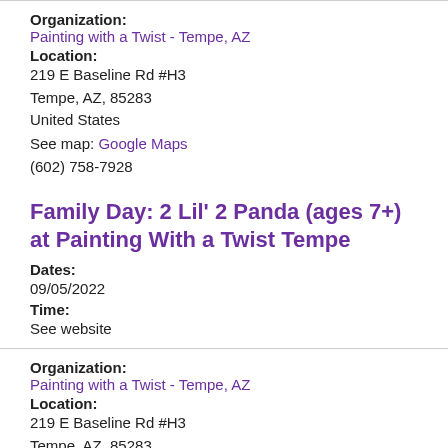Organization:
Painting with a Twist - Tempe, AZ
Location:
219 E Baseline Rd #H3
Tempe, AZ, 85283
United States
See map: Google Maps
(602) 758-7928
Family Day: 2 Lil' 2 Panda (ages 7+) at Painting With a Twist Tempe
Dates:
09/05/2022
Time:
See website
Organization:
Painting with a Twist - Tempe, AZ
Location:
219 E Baseline Rd #H3
Tempe, AZ, 85283
United States